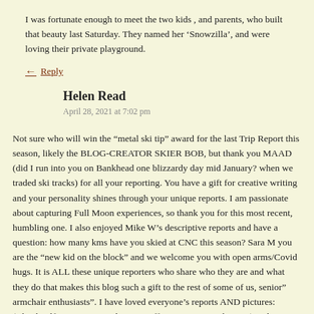I was fortunate enough to meet the two kids , and parents, who built that beauty last Saturday. They named her ‘Snowzilla’, and were loving their private playground.
← Reply
Helen Read
April 28, 2021 at 7:02 pm
Not sure who will win the “metal ski tip” award for the last Trip Report this season, likely the BLOG-CREATOR SKIER BOB, but thank you MAAD (did I run into you on Bankhead one blizzardy day mid January? when we traded ski tracks) for all your reporting. You have a gift for creative writing and your personality shines through your unique reports. I am passionate about capturing Full Moon experiences, so thank you for this most recent, humbling one. I also enjoyed Mike W’s descriptive reports and have a question: how many kms have you skied at CNC this season? Sara M you are the “new kid on the block” and we welcome you with open arms/Covid hugs. It is ALL these unique reporters who share who they are and what they do that makes this blog such a gift to the rest of some of us, senior” armchair enthusiasts”. I have loved everyone’s reports AND pictures: (Chuck/Alf/Steve/Normand/Diana/Jeff/Erin …..ALL who post) and vicariously inhale every single word that is written and photo that is